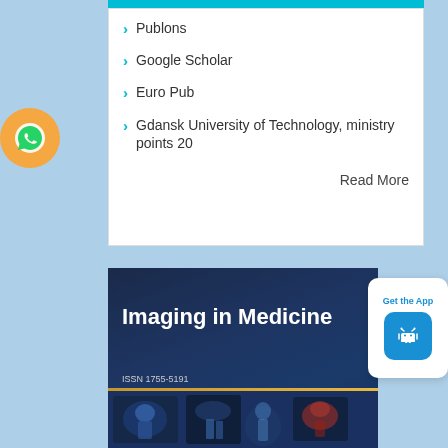Publons
Google Scholar
Euro Pub
Gdansk University of Technology, ministry points 20
Read More
[Figure (illustration): Imaging in Medicine journal cover with medical bone/joint images, ISSN 1755-5191, dark blue background with gold divider line]
Get the App